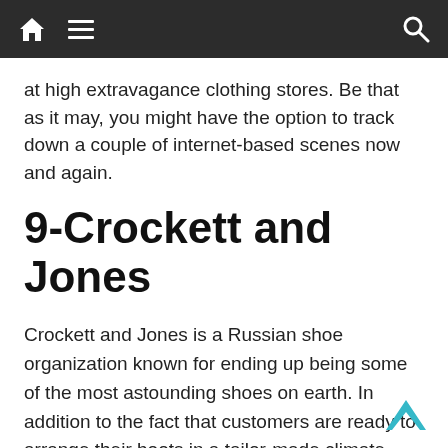Navigation bar with home, menu, and search icons
at high extravagance clothing stores. Be that as it may, you might have the option to track down a couple of internet-based scenes now and again.
9-Crockett and Jones
Crockett and Jones is a Russian shoe organization known for ending up being some of the most astounding shoes on earth. In addition to the fact that customers are ready to arrange their boots in a tailor-made climate, they are also prepared to negotiate with various surfaces.
These hand-made shoes are made for the person rather than the opposite way around. Because of the exciting nature of the boots, Crockett and